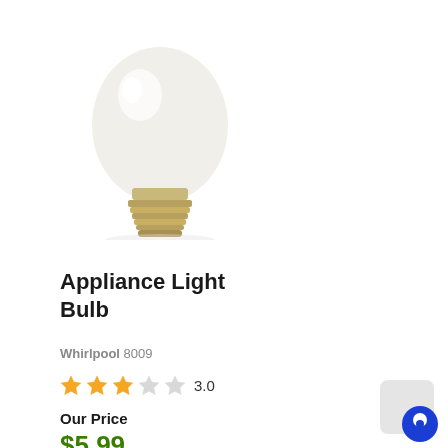[Figure (photo): A frosted glass appliance light bulb with a gold/brass Edison screw base, shown tilted slightly, on a white background.]
Appliance Light Bulb
Whirlpool 8009
3.0 stars rating
Our Price
$5.99
See Details